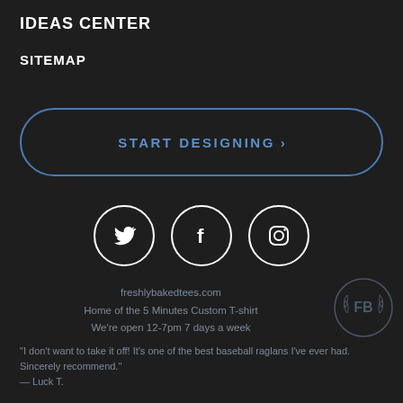IDEAS CENTER
SITEMAP
START DESIGNING >
[Figure (illustration): Three social media icons in white circles: Twitter bird, Facebook F, and Instagram camera, centered horizontally on dark background.]
freshlybakedtees.com
Home of the 5 Minutes Custom T-shirt
We're open 12-7pm 7 days a week
[Figure (logo): Freshly Baked Tees circular badge logo with FB initials and laurel wreath, gray tones on dark background.]
"I don't want to take it off! It's one of the best baseball raglans I've ever had. Sincerely recommend."
— Luck T.